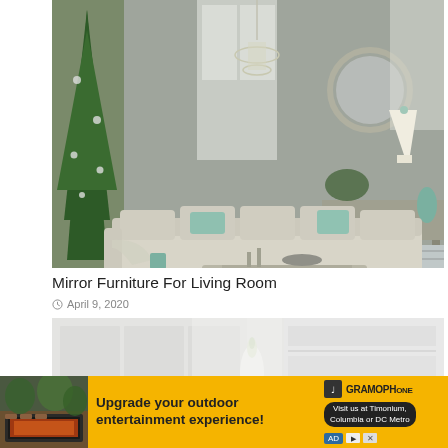[Figure (photo): Elegant living room with a large sectional sofa in cream/beige, decorative teal pillows, a crystal chandelier, round mirror on the wall, mirrored side table, and a Christmas tree on the left.]
Mirror Furniture For Living Room
April 9, 2020
[Figure (photo): White and light interior room scene, partially visible, showing white walls and a white vase.]
[Figure (photo): Advertisement banner: Upgrade your outdoor entertainment experience! Gramophone. Visit us at Timonium, Columbia or DC Metro.]